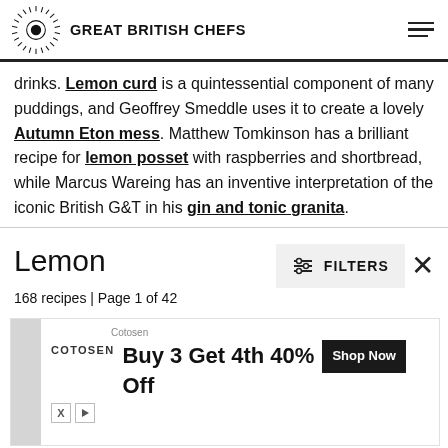GREAT BRITISH CHEFS
drinks. Lemon curd is a quintessential component of many puddings, and Geoffrey Smeddle uses it to create a lovely Autumn Eton mess. Matthew Tomkinson has a brilliant recipe for lemon posset with raspberries and shortbread, while Marcus Wareing has an inventive interpretation of the iconic British G&T in his gin and tonic granita.
Lemon
168 recipes | Page 1 of 42
[Figure (screenshot): Advertisement banner for Cotosen: 'Buy 3 Get 4th 40% Off' with Shop Now button]